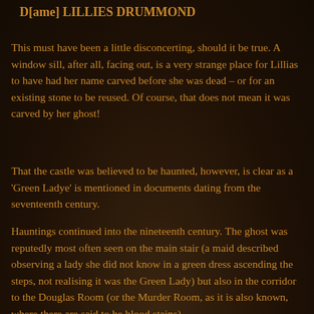D[ame] LILLIES DRUMMOND
This must have been a little disconcerting, should it be true. A window sill, after all, facing out, is a very strange place for Lillias to have had her name carved before she was dead – or for an existing stone to be reused. Of course, that does not mean it was carved by her ghost!
That the castle was believed to be haunted, however, is clear as a 'Green Ladye' is mentioned in documents dating from the seventeenth century.
Hauntings continued into the nineteenth century. The ghost was reputedly most often seen on the main stair (a maid described observing a lady she did not know in a green dress ascending the steps, not realising it was the Green Lady) but also in the corridor to the Douglas Room (or the Murder Room, as it is also known, where there are said to be blood stains).